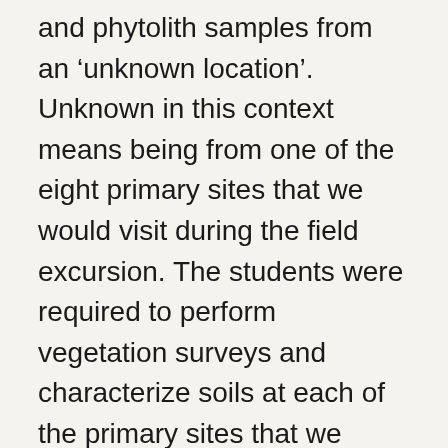and phytolith samples from an 'unknown location'. Unknown in this context means being from one of the eight primary sites that we would visit during the field excursion. The students were required to perform vegetation surveys and characterize soils at each of the primary sites that we visited. The goal of each group was to figure out which location their set of 'unknown' samples came from. Basically, we had them doing forensic palynology, with idea that they could then better visualize the different vegetation assemblages seen in the